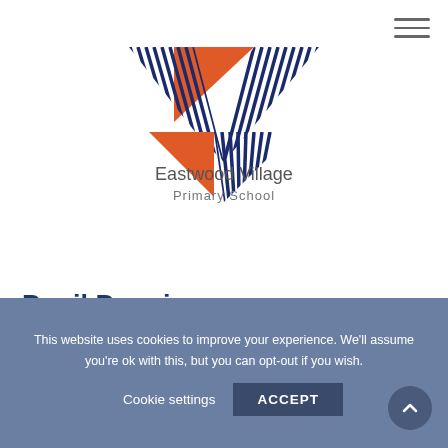[Figure (logo): Eastwood Village Primary School logo with geometric V-shaped design using orange triangles and dark blue chevron lines]
Pupil Premium
This website uses cookies to improve your experience. We'll assume you're ok with this, but you can opt-out if you wish.
Cookie settings   ACCEPT